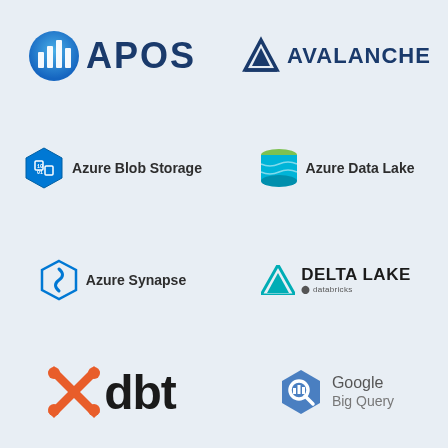[Figure (logo): APOS logo with blue circular bar chart icon and bold navy APOS text]
[Figure (logo): Avalanche logo with geometric mountain/triangle icon and bold navy AVALANCHE text]
[Figure (logo): Azure Blob Storage logo with blue hexagon binary code icon and Azure Blob Storage text]
[Figure (logo): Azure Data Lake logo with green-top cylindrical database icon and Azure Data Lake text]
[Figure (logo): Azure Synapse logo with blue hexagon S-swirl icon and Azure Synapse text]
[Figure (logo): Delta Lake logo with teal triangle icon and bold DELTA LAKE text with databricks sub-text]
[Figure (logo): dbt logo with orange X-cross icon and large bold dbt text]
[Figure (logo): Google Big Query logo with blue hexagon magnifying glass icon and Google Big Query text]